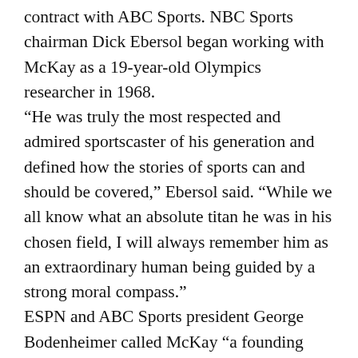contract with ABC Sports. NBC Sports chairman Dick Ebersol began working with McKay as a 19-year-old Olympics researcher in 1968. “He was truly the most respected and admired sportscaster of his generation and defined how the stories of sports can and should be covered,” Ebersol said. “While we all know what an absolute titan he was in his chosen field, I will always remember him as an extraordinary human being guided by a strong moral compass.” ESPN and ABC Sports president George Bodenheimer called McKay “a founding father of sports television.” Added Bob Iger, president and chief executive of The Walt Disney Company: “He was a regular guy who wrote and spoke like a poet.”